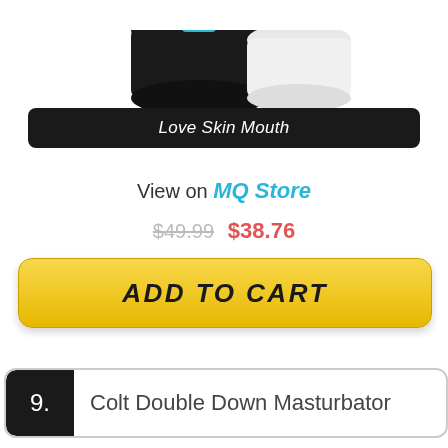[Figure (photo): Product image of two items (black and white containers) partially visible at top of page]
Love Skin Mouth
View on MQ Store
$49.99 $38.76
ADD TO CART
9. Colt Double Down Masturbator